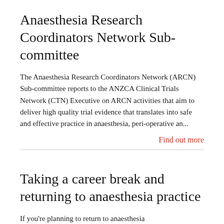Anaesthesia Research Coordinators Network Sub-committee
The Anaesthesia Research Coordinators Network (ARCN) Sub-committee reports to the ANZCA Clinical Trials Network (CTN) Executive on ARCN activities that aim to deliver high quality trial evidence that translates into safe and effective practice in anaesthesia, peri-operative an...
Find out more
Taking a career break and returning to anaesthesia practice
If you're planning to return to anaesthesia